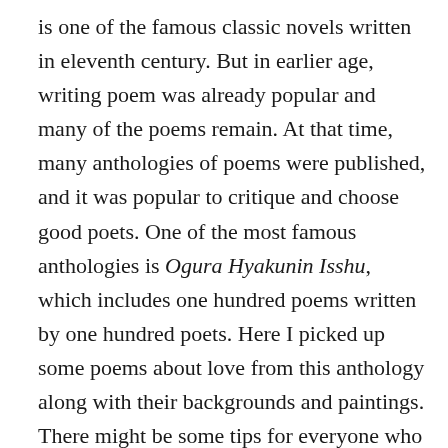is one of the famous classic novels written in eleventh century. But in earlier age, writing poem was already popular and many of the poems remain. At that time, many anthologies of poems were published, and it was popular to critique and choose good poets. One of the most famous anthologies is Ogura Hyakunin Isshu, which includes one hundred poems written by one hundred poets. Here I picked up some poems about love from this anthology along with their backgrounds and paintings. There might be some tips for everyone who desperately needs boyfriend/girlfriend or plans to write love letters for Valentine's Day.